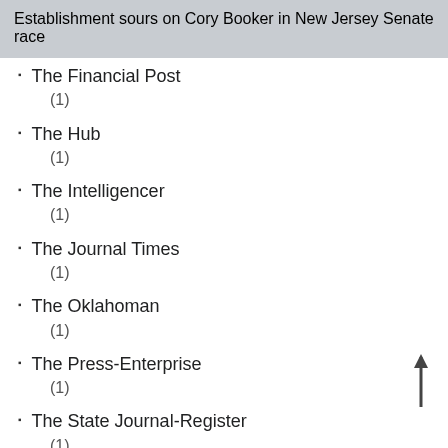Establishment sours on Cory Booker in New Jersey Senate race
The Financial Post
(1)
The Hub
(1)
The Intelligencer
(1)
The Journal Times
(1)
The Oklahoman
(1)
The Press-Enterprise
(1)
The State Journal-Register
(1)
The Stateless Man